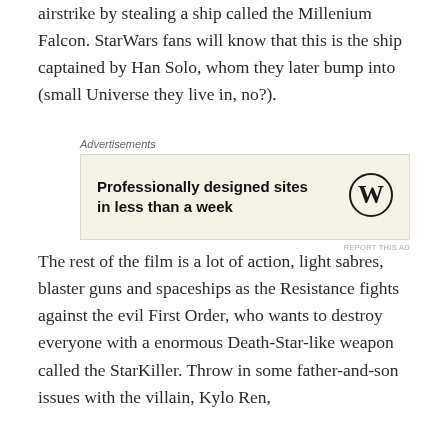airstrike by stealing a ship called the Millenium Falcon. StarWars fans will know that this is the ship captained by Han Solo, whom they later bump into (small Universe they live in, no?).
[Figure (other): Advertisement box with beige background. Text: 'Professionally designed sites in less than a week'. WordPress logo on the right. Label 'Advertisements' above, 'REPORT THIS AD' below right.]
The rest of the film is a lot of action, light sabres, blaster guns and spaceships as the Resistance fights against the evil First Order, who wants to destroy everyone with a enormous Death-Star-like weapon called the StarKiller. Throw in some father-and-son issues with the villain, Kylo Ren,